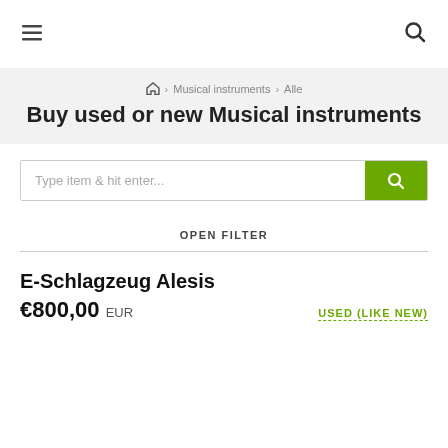≡  🔍
🏠 › Musical instruments › Alle
Buy used or new Musical instruments
Type item & hit enter...
OPEN FILTER
E-Schlagzeug Alesis
€800,00 EUR   USED (LIKE NEW)